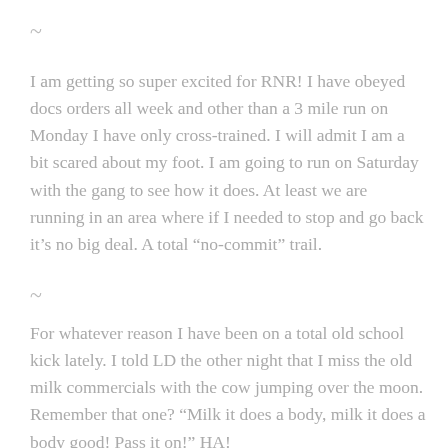~
I am getting so super excited for RNR! I have obeyed docs orders all week and other than a 3 mile run on Monday I have only cross-trained. I will admit I am a bit scared about my foot. I am going to run on Saturday with the gang to see how it does. At least we are running in an area where if I needed to stop and go back it’s no big deal. A total “no-commit” trail.
~
For whatever reason I have been on a total old school kick lately. I told LD the other night that I miss the old milk commercials with the cow jumping over the moon. Remember that one? "Milk it does a body, milk it does a body good! Pass it on!" HA!